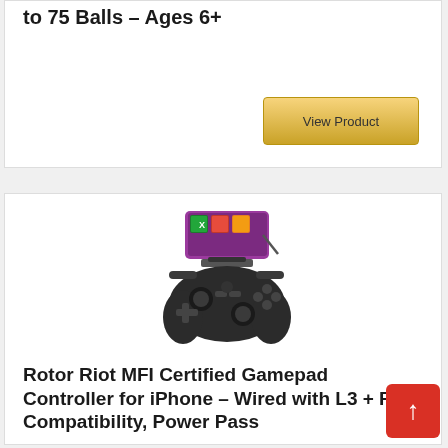to 75 Balls – Ages 6+
View Product
[Figure (photo): Rotor Riot MFI certified gamepad controller for iPhone with phone mount showing gaming app, wired controller in black]
Rotor Riot MFI Certified Gamepad Controller for iPhone – Wired with L3 + R3 Compatibility, Power Pass